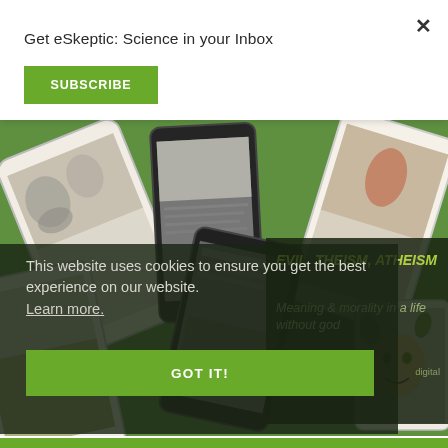Get eSkeptic: Science in your Inbox
SUBSCRIBE
[Figure (photo): Green background with multiple smartphone and tablet devices displaying eSkeptic magazine covers and articles]
EVIL, THEISM, ATHEISM
Meaning & morality in a life without god
digital
This website uses cookies to ensure you get the best experience on our website. Learn more.
GOT IT!